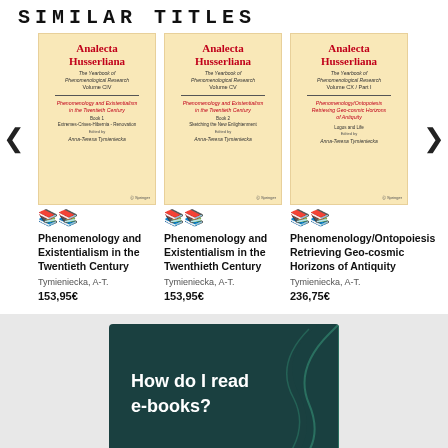SIMILAR TITLES
[Figure (illustration): Three book covers for Analecta Husserliana volumes with carousel navigation arrows]
Phenomenology and Existentialism in the Twentieth Century
Tymieniecka, A-T.
153,95€
Phenomenology and Existentialism in the Twenthieth Century
Tymieniecka, A-T.
153,95€
Phenomenology/Ontopoiesis Retrieving Geo-cosmic Horizons of Antiquity
Tymieniecka, A-T.
236,75€
[Figure (illustration): Dark teal banner with white bold text: How do I read e-books? with decorative teal curves]